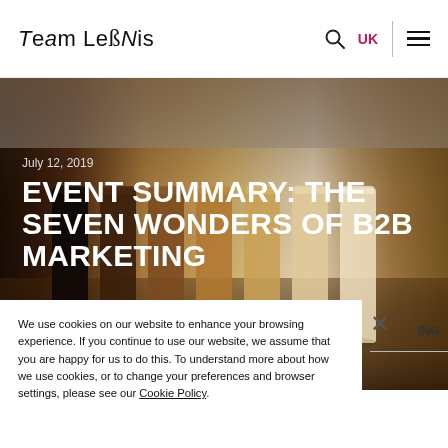Team LeBis | UK
[Figure (photo): Hero image of a row of glass bottles ranging from dark brown/black to cream/beige on a wooden table, with blurred background. Overlaid text: date and article title.]
July 12, 2019
EVENT SUMMARY: THE SEVEN WONDERS OF B2B MARKETING
We use cookies on our website to enhance your browsing experience. If you continue to use our website, we assume that you are happy for us to do this. To understand more about how we use cookies, or to change your preferences and browser settings, please see our Cookie Policy.